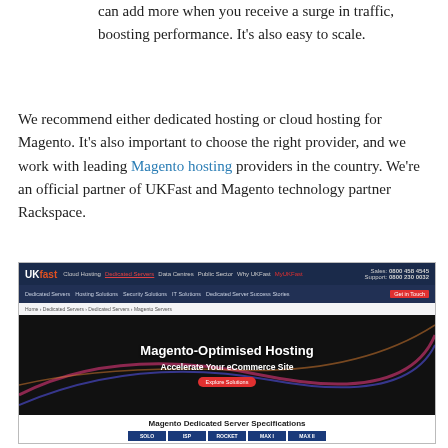can add more when you receive a surge in traffic, boosting performance. It's also easy to scale.
We recommend either dedicated hosting or cloud hosting for Magento. It's also important to choose the right provider, and we work with leading Magento hosting providers in the country. We're an official partner of UKFast and Magento technology partner Rackspace.
[Figure (screenshot): Screenshot of UKFast website showing Magento-Optimised Hosting page with hero banner 'Accelerate Your eCommerce Site', navigation bar, and Magento Dedicated Server Specifications section with columns: SOLO, ISP, ROCKET, MAX I, MAX II]